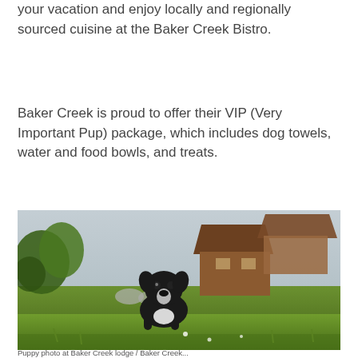your vacation and enjoy locally and regionally sourced cuisine at the Baker Creek Bistro.
Baker Creek is proud to offer their VIP (Very Important Pup) package, which includes dog towels, water and food bowls, and treats.
[Figure (photo): A black and white puppy lying on green grass in a relaxed pose, facing the camera. In the background are wooden cabin structures and green foliage. Low-angle photography.]
Puppy photo at Baker Creek lodge / Baker Creek...